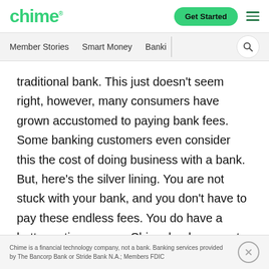chime
Member Stories   Smart Money   Banki
traditional bank. This just doesn't seem right, however, many consumers have grown accustomed to paying bank fees. Some banking customers even consider this the cost of doing business with a bank. But, here's the silver lining. You are not stuck with your bank, and you don't have to pay these endless fees. You do have a better option: open a Chime bank account.
Chime is a financial technology company, not a bank. Banking services provided by The Bancorp Bank or Stride Bank N.A.; Members FDIC